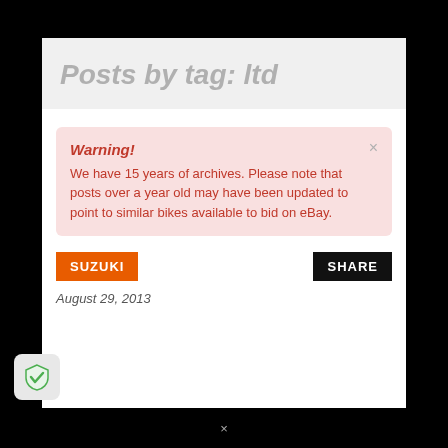Posts by tag: ltd
Warning! We have 15 years of archives. Please note that posts over a year old may have been updated to point to similar bikes available to bid on eBay.
SUZUKI
SHARE
August 29, 2013